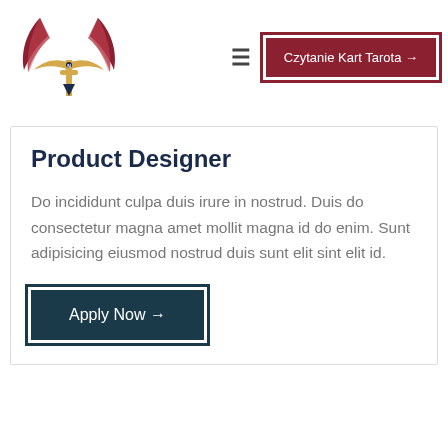[Figure (logo): Decorative logo with dark red feathers and gold elements forming a winged crest shape with an arrow/key motif]
≡
Czytanie Kart Tarota →
Product Designer
Do incididunt culpa duis irure in nostrud. Duis do consectetur magna amet mollit magna id do enim. Sunt adipisicing eiusmod nostrud duis sunt elit sint elit id.
Apply Now →